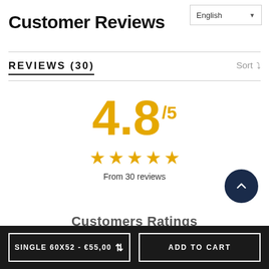Customer Reviews
Reviews (30)
[Figure (infographic): Rating display showing 4.8/5 with 5 gold stars and text 'From 30 reviews']
Customers Ratings
SINGLE 60X52 - €55,00   ADD TO CART